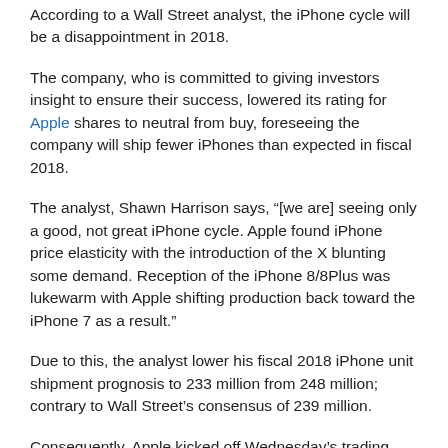According to a Wall Street analyst, the iPhone cycle will be a disappointment in 2018.
The company, who is committed to giving investors insight to ensure their success, lowered its rating for Apple shares to neutral from buy, foreseeing the company will ship fewer iPhones than expected in fiscal 2018.
The analyst, Shawn Harrison says, “[we are] seeing only a good, not great iPhone cycle. Apple found iPhone price elasticity with the introduction of the X blunting some demand. Reception of the iPhone 8/8Plus was lukewarm with Apple shifting production back toward the iPhone 7 as a result.”
Due to this, the analyst lower his fiscal 2018 iPhone unit shipment prognosis to 233 million from 248 million; contrary to Wall Street’s consensus of 239 million.
Consequently, Apple kicked off Wednesday’s trading session about...